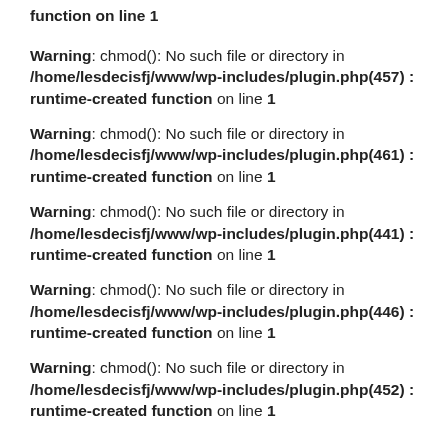function on line 1
Warning: chmod(): No such file or directory in /home/lesdecisfj/www/wp-includes/plugin.php(457) : runtime-created function on line 1
Warning: chmod(): No such file or directory in /home/lesdecisfj/www/wp-includes/plugin.php(461) : runtime-created function on line 1
Warning: chmod(): No such file or directory in /home/lesdecisfj/www/wp-includes/plugin.php(441) : runtime-created function on line 1
Warning: chmod(): No such file or directory in /home/lesdecisfj/www/wp-includes/plugin.php(446) : runtime-created function on line 1
Warning: chmod(): No such file or directory in /home/lesdecisfj/www/wp-includes/plugin.php(452) : runtime-created function on line 1